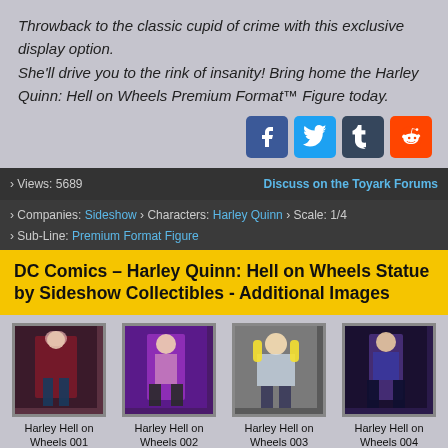Throwback to the classic cupid of crime with this exclusive display option. She'll drive you to the rink of insanity! Bring home the Harley Quinn: Hell on Wheels Premium Format™ Figure today.
[Figure (infographic): Social media share buttons: Facebook (blue), Twitter (light blue), Tumblr (dark blue), Reddit (orange-red)]
› Views: 5689    Discuss on the Toyark Forums
› Companies: Sideshow › Characters: Harley Quinn › Scale: 1/4 › Sub-Line: Premium Format Figure
DC Comics – Harley Quinn: Hell on Wheels Statue by Sideshow Collectibles - Additional Images
[Figure (photo): Thumbnail 1: Harley Hell on Wheels 001 - Harley Quinn statue dark background]
[Figure (photo): Thumbnail 2: Harley Hell on Wheels 002 - Harley Quinn statue purple background]
[Figure (photo): Thumbnail 3: Harley Hell on Wheels 003 - Harley Quinn statue grey background]
[Figure (photo): Thumbnail 4: Harley Hell on Wheels 004 - Harley Quinn statue dark purple background]
Harley Hell on Wheels 001
Harley Hell on Wheels 002
Harley Hell on Wheels 003
Harley Hell on Wheels 004